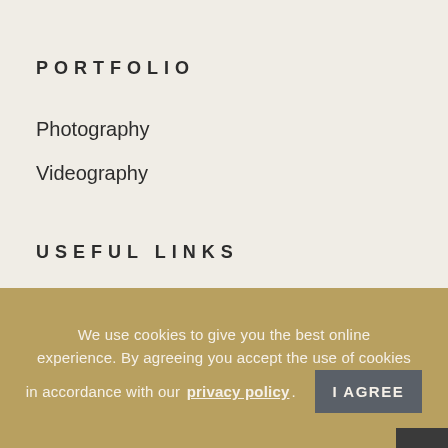PORTFOLIO
Photography
Videography
USEFUL LINKS
Terms and Conditions
Privacy Policy
We use cookies to give you the best online experience. By agreeing you accept the use of cookies in accordance with our privacy policy.